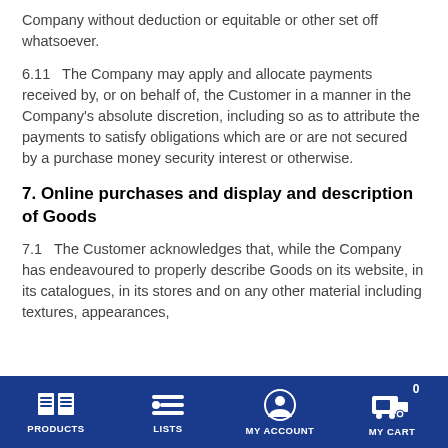Company without deduction or equitable or other set off whatsoever.
6.11   The Company may apply and allocate payments received by, or on behalf of, the Customer in a manner in the Company's absolute discretion, including so as to attribute the payments to satisfy obligations which are or are not secured by a purchase money security interest or otherwise.
7. Online purchases and display and description of Goods
7.1   The Customer acknowledges that, while the Company has endeavoured to properly describe Goods on its website, in its catalogues, in its stores and on any other material including textures, appearances,
PRODUCTS  LISTS  MY ACCOUNT  MY CART  0